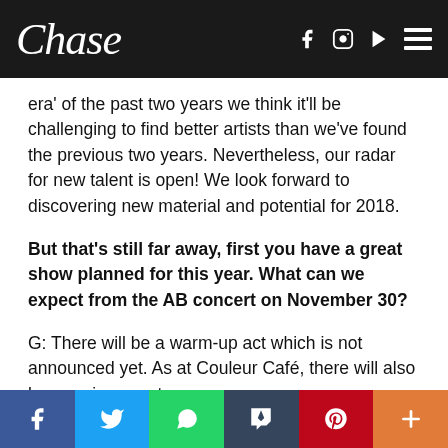Chase
era' of the past two years we think it'll be challenging to find better artists than we've found the previous two years. Nevertheless, our radar for new talent is open! We look forward to discovering new material and potential for 2018.
But that's still far away, first you have a great show planned for this year. What can we expect from the AB concert on November 30?
G: There will be a warm-up act which is not announced yet. As at Couleur Café, there will also be surprise guests
Social share bar: Facebook, Twitter, WhatsApp, Tumblr, Pinterest, More